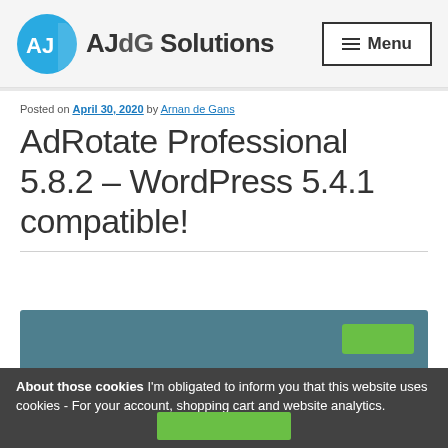AJdG Solutions — Menu
Posted on April 30, 2020 by Arnan de Gans
AdRotate Professional 5.8.2 – WordPress 5.4.1 compatible!
[Figure (other): Teal promotional banner with green button]
About those cookies I'm obligated to inform you that this website uses cookies - For your account, shopping cart and website analytics.